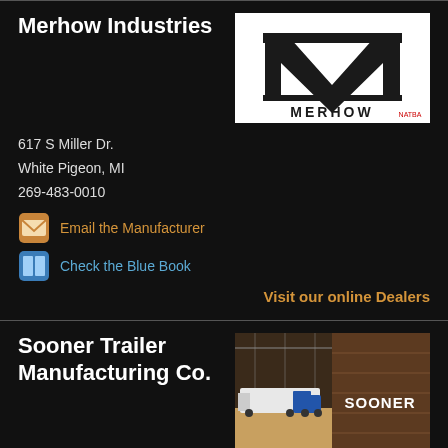Merhow Industries
[Figure (logo): Merhow Industries logo - white background with large M chevron shape and MERHOW text, NATBA logo in corner]
617 S Miller Dr.
White Pigeon, MI
269-483-0010
Email the Manufacturer
Check the Blue Book
Visit our online Dealers
Sooner Trailer Manufacturing Co.
[Figure (photo): Sooner Trailer Manufacturing promotional photo showing white horse trailer, truck, and arena with SOONER branding text]
900 E Trail Boulevard
El Reno, OK
800-256-6668
Email the Manufacturer